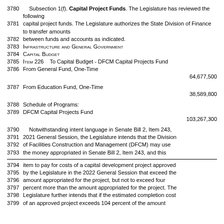3780  Subsection 1(f). Capital Project Funds. The Legislature has reviewed the following
3781  capital project funds. The Legislature authorizes the State Division of Finance to transfer amounts
3782  between funds and accounts as indicated.
3783  INFRASTRUCTURE AND GENERAL GOVERNMENT
3784  CAPITAL BUDGET
3785  ITEM 226   To Capital Budget - DFCM Capital Projects Fund
3786  From General Fund, One-Time
64,677,500
3787  From Education Fund, One-Time
38,589,800
3788  Schedule of Programs:
3789  DFCM Capital Projects Fund
103,267,300
3790  Notwithstanding intent language in Senate Bill 2, Item 243,
3791  2021 General Session, the Legislature intends that the Division
3792  of Facilities Construction and Management (DFCM) may use
3793  the money appropriated in Senate Bill 2, Item 243, and this
3794  item to pay for costs of a capital development project approved
3795  by the Legislature in the 2022 General Session that exceed the
3796  amount appropriated for the project, but not to exceed four
3797  percent more than the amount appropriated for the project. The
3798  Legislature further intends that if the estimated completion cost
3799  of an approved project exceeds 104 percent of the amount